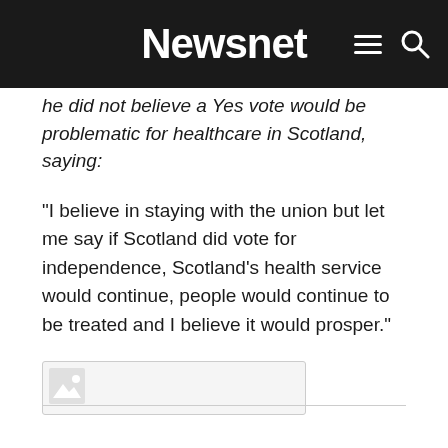Newsnet
he did not believe a Yes vote would be problematic for healthcare in Scotland, saying:
“I believe in staying with the union but let me say if Scotland did vote for independence, Scotland’s health service would continue, people would continue to be treated and I believe it would prosper.”
[Figure (photo): Partially loaded image placeholder with a broken image icon in the top-left corner]